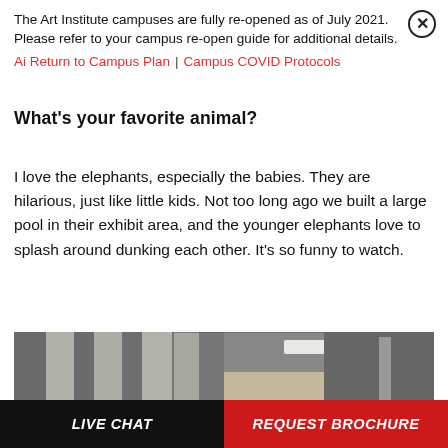The Art Institute campuses are fully re-opened as of July 2021. Please refer to your campus re-open guide for additional details.
Ai Return to Campus Plan | Campus COVID Protocols
What's your favorite animal?
I love the elephants, especially the babies. They are hilarious, just like little kids. Not too long ago we built a large pool in their exhibit area, and the younger elephants love to splash around dunking each other. It's so funny to watch.
[Figure (photo): Indoor photo showing large concrete or stone columns/bars, likely inside an elephant enclosure or facility, with brick walls and a fluorescent light visible in the background.]
LIVE CHAT | REQUEST BROCHURE